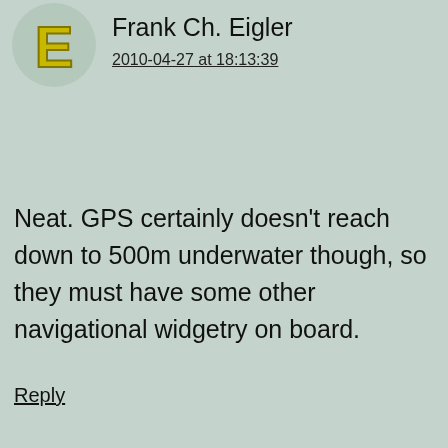[Figure (illustration): Circular avatar with stylized yellow-green letter E on grey-green background for user Frank Ch. Eigler]
Frank Ch. Eigler
2010-04-27 at 18:13:39
Neat. GPS certainly doesn’t reach down to 500m underwater though, so they must have some other navigational widgetry on board.
Reply
[Figure (illustration): Circular grey avatar with generic person silhouette for user Darrencardinal]
Darrencardinal
2010-04-27 at 18:13:44
ESR, I am getting concerned here.